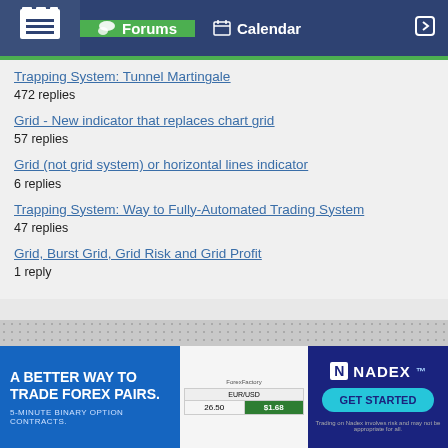Forums | Calendar
Trapping System: Tunnel Martingale
472 replies
Grid - New indicator that replaces chart grid
57 replies
Grid (not grid system) or horizontal lines indicator
6 replies
Trapping System: Way to Fully-Automated Trading System
47 replies
Grid, Burst Grid, Grid Risk and Grid Profit
1 reply
Top of Page
[Figure (screenshot): Advertisement banner: 'A BETTER WAY TO TRADE FOREX PAIRS. 5-MINUTE BINARY OPTION CONTRACTS.' with a trading interface screenshot and NADEX GET STARTED button]